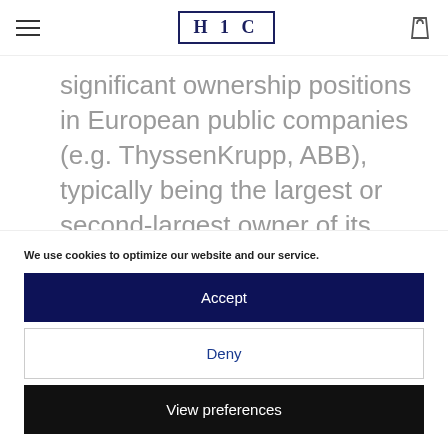H 1 C
significant ownership positions in European public companies (e.g. ThyssenKrupp, ABB), typically being the largest or second-largest owner of its portfolio companies.
We use cookies to optimize our website and our service.
Accept
Deny
View preferences